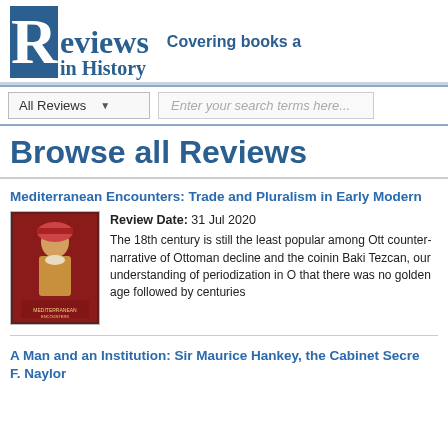Reviews in History — Covering books a
All Reviews [dropdown] | Enter your search terms here...
Browse all Reviews
Mediterranean Encounters: Trade and Pluralism in Early Modern
Review Date: 31 Jul 2020
The 18th century is still the least popular among Ott counter-narrative of Ottoman decline and the coinin Baki Tezcan, our understanding of periodization in O that there was no golden age followed by centuries
A Man and an Institution: Sir Maurice Hankey, the Cabinet Secre F. Naylor